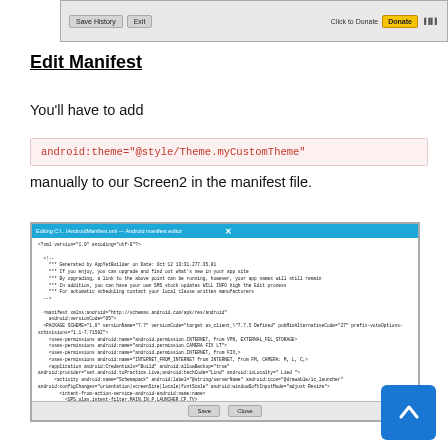[Figure (screenshot): Top portion of a Windows application showing Save History and Exit buttons on the left, and Click to Donate with Donate button on the right]
Edit Manifest
You'll have to add
android:theme="@style/Theme.myCustomTheme"
manually to our Screen2 in the manifest file.
[Figure (screenshot): Android manifest XML editor window showing XML code with highlighted android:theme attribute in red, with OK and Close buttons at the bottom]